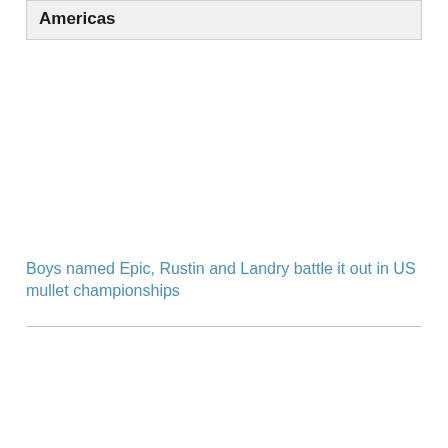Americas
Boys named Epic, Rustin and Landry battle it out in US mullet championships